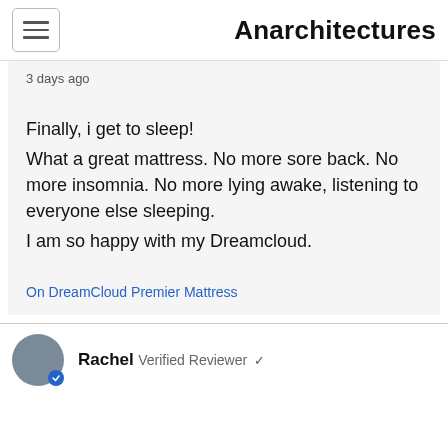Anarchitectures
3 days ago
Finally, i get to sleep!
What a great mattress. No more sore back. No more insomnia. No more lying awake, listening to everyone else sleeping.
I am so happy with my Dreamcloud.
On DreamCloud Premier Mattress
Rachel Verified Reviewer ✓